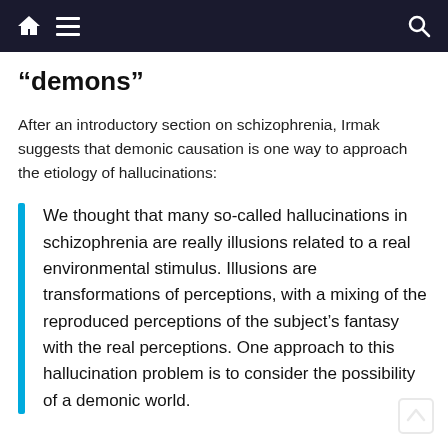home menu search
“demons”
After an introductory section on schizophrenia, Irmak suggests that demonic causation is one way to approach the etiology of hallucinations:
We thought that many so-called hallucinations in schizophrenia are really illusions related to a real environmental stimulus. Illusions are transformations of perceptions, with a mixing of the reproduced perceptions of the subject’s fantasy with the real perceptions. One approach to this hallucination problem is to consider the possibility of a demonic world.